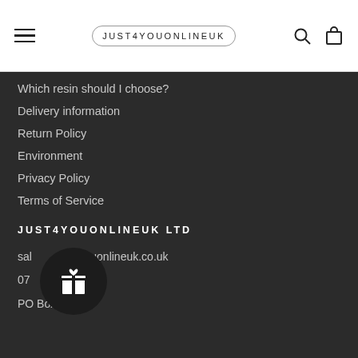JUST4YOUONLINEUK
Which resin should I choose?
Delivery information
Return Policy
Environment
Privacy Policy
Terms of Service
JUST4YOUONLINEUK LTD
sales@just4youonlineuk.co.uk
07...84
PO Box 1332